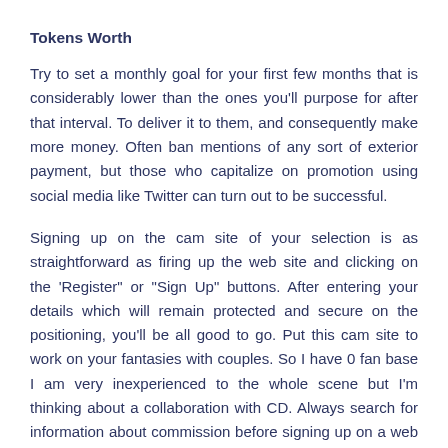Tokens Worth
Try to set a monthly goal for your first few months that is considerably lower than the ones you’ll purpose for after that interval. To deliver it to them, and consequently make more money. Often ban mentions of any sort of exterior payment, but those who capitalize on promotion using social media like Twitter can turn out to be successful.
Signing up on the cam site of your selection is as straightforward as firing up the web site and clicking on the ‘Register” or “Sign Up” buttons. After entering your details which will remain protected and secure on the positioning, you’ll be all good to go. Put this cam site to work on your fantasies with couples. So I have 0 fan base I am very inexperienced to the whole scene but I’m thinking about a collaboration with CD. Always search for information about commission before signing up on a web site. Everything